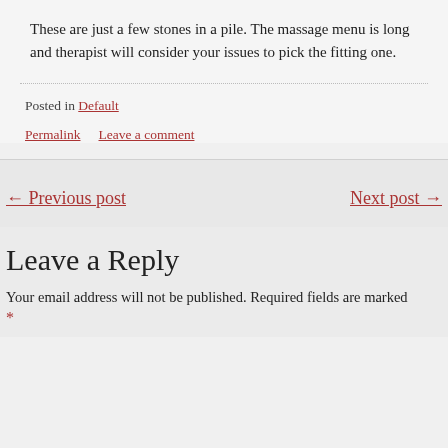These are just a few stones in a pile. The massage menu is long and therapist will consider your issues to pick the fitting one.
Posted in Default
Permalink   Leave a comment
← Previous post
Next post →
Leave a Reply
Your email address will not be published. Required fields are marked *